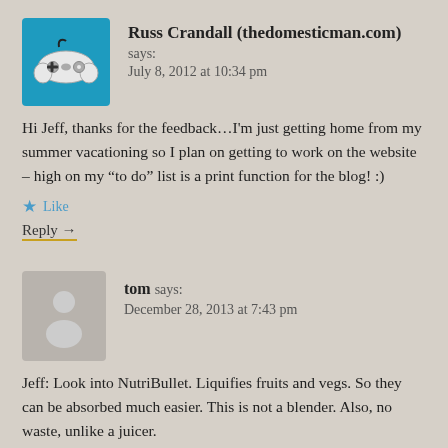Russ Crandall (thedomesticman.com)
says:
July 8, 2012 at 10:34 pm
Hi Jeff, thanks for the feedback…I'm just getting home from my summer vacationing so I plan on getting to work on the website – high on my “to do” list is a print function for the blog! :)
★ Like
Reply →
tom says:
December 28, 2013 at 7:43 pm
Jeff: Look into NutriBullet. Liquifies fruits and vegs. So they can be absorbed much easier. This is not a blender. Also, no waste, unlike a juicer.